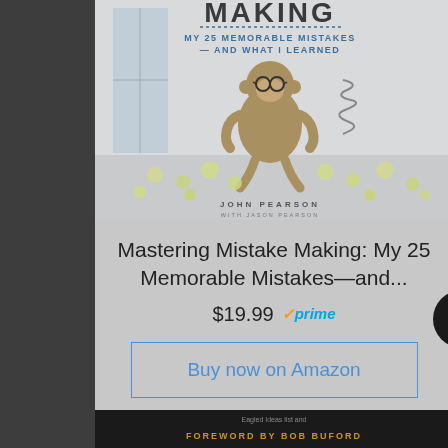[Figure (illustration): Book cover for 'Mastering Mistake Making: My 25 Memorable Mistakes—And What I Learned' by John Pearson with Jason Pearson. Shows a monkey wearing glasses sitting on a spring surrounded by crumpled paper balls, against a light office background.]
Mastering Mistake Making: My 25 Memorable Mistakes—and...
$19.99 ✓prime
Buy now on Amazon
FOREWORD BY BOB BUFORD